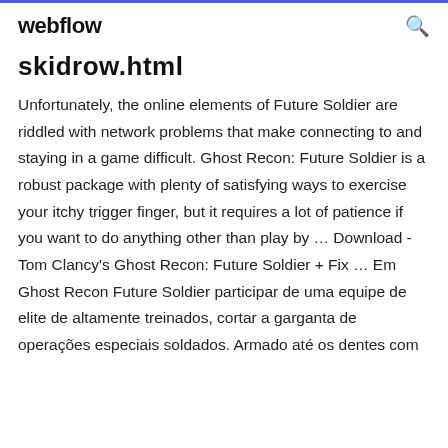webflow
skidrow.html
Unfortunately, the online elements of Future Soldier are riddled with network problems that make connecting to and staying in a game difficult. Ghost Recon: Future Soldier is a robust package with plenty of satisfying ways to exercise your itchy trigger finger, but it requires a lot of patience if you want to do anything other than play by ... Download - Tom Clancy's Ghost Recon: Future Soldier + Fix ... Em Ghost Recon Future Soldier participar de uma equipe de elite de altamente treinados, cortar a garganta de operações especiais soldados. Armado até os dentes com tecnologia de ponta, tiro de longa data...